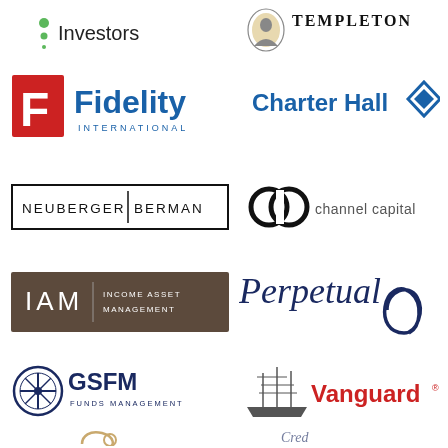[Figure (logo): Investors logo (green bullet points)]
[Figure (logo): Franklin Templeton logo with portrait]
[Figure (logo): Fidelity International logo - red F square, blue text]
[Figure (logo): Charter Hall logo - blue text with diamond icon]
[Figure (logo): Neuberger Berman logo - black text in rectangle border]
[Figure (logo): Channel Capital logo - double C rings and text]
[Figure (logo): IAM Income Asset Management logo - dark brown background]
[Figure (logo): Perpetual logo - dark blue italic text with infinity symbol]
[Figure (logo): GSFM Funds Management logo - compass icon dark blue]
[Figure (logo): Vanguard logo - ship and red text]
[Figure (logo): Partial logo bottom left - gold swirl]
[Figure (logo): Partial logo bottom right - partial text]